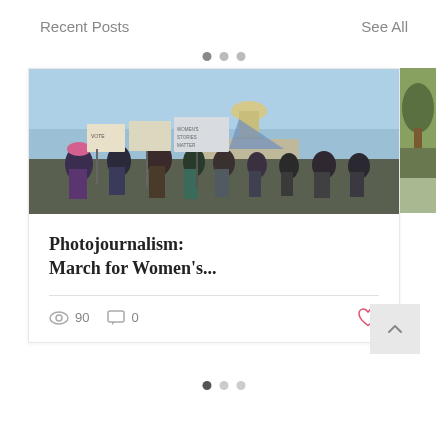Recent Posts
See All
[Figure (photo): Protest/march scene outside a government building (capitol dome visible) with people holding signs, blue sky background.]
Photojournalism: March for Women's...
90 views, 0 comments, heart/like icon